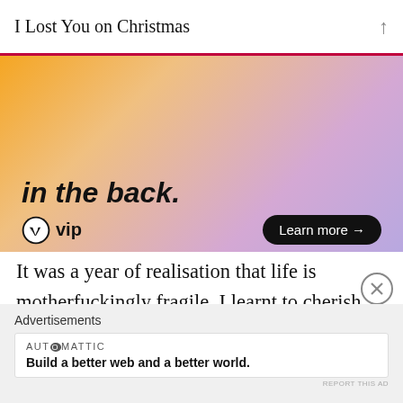I Lost You on Christmas
[Figure (screenshot): WordPress VIP advertisement banner with orange-to-purple gradient background, bold italic text 'in the back.' at top, WordPress VIP logo and 'Learn more →' button]
It was a year of realisation that life is motherfuckingly fragile. I learnt to cherish what and who I have. Which is why once I am committed to someone or something, it becomes very difficult to say no. I become overly expressive because my greatest fear is losing someone I hold close.
Advertisements
[Figure (screenshot): Automattic advertisement: 'Build a better web and a better world.']